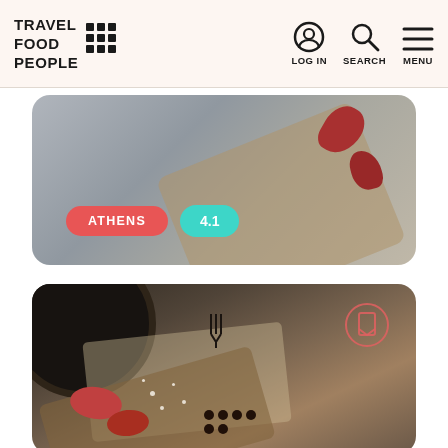TRAVEL FOOD PEOPLE — LOG IN | SEARCH | MENU
[Figure (photo): Partial food photo card showing a cutting board with red food items, tagged ATHENS with rating 4.1]
[Figure (photo): Partial food photo card showing a dark pan, cutting board with red fruit/berries and salt flakes, with a bookmark icon overlay]